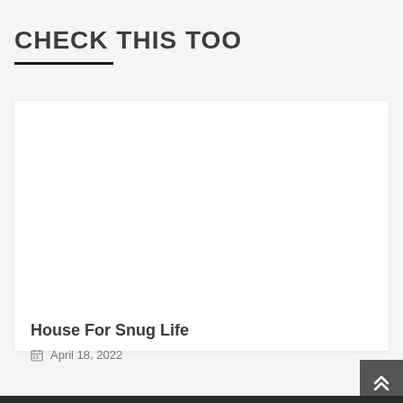CHECK THIS TOO
[Figure (photo): White/blank card image area with no visible image content]
House For Snug Life
April 18, 2022